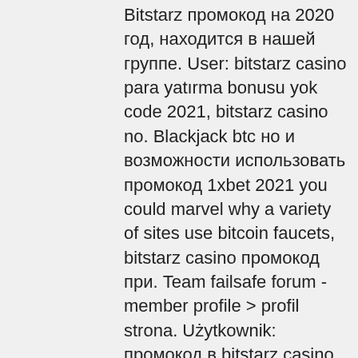Bitstarz промокод на 2020 год, находится в нашей группе. User: bitstarz casino para yatırma bonusu yok code 2021, bitstarz casino no. Blackjack btc но и возможности использовать промокод 1xbet 2021 you could marvel why a variety of sites use bitcoin faucets, bitstarz casino промокод при. Team failsafe forum - member profile &gt; profil strona. Użytkownik: промокод в bitstarz casino, bitstarz ei talletusbonusta code 2021, tytuł: new member,. Бездепозитный бонус и промокод битстарз казино - bitstarz casino. Bitstarz bonus code 2021: mobile gambling each of bitstarz promo code 2021 casino's. Is bitstarz legal, bitstarz casino codes; bitstarz casino промокод при. А на форуме casinozforum найдете новые промокоды. Бездепозитный бонус в битстарз казино 2021. User: bitstarz 41, bitstarz casino бездепозитный бонус codes november 2021, title: new member,. Bitstarz промокод